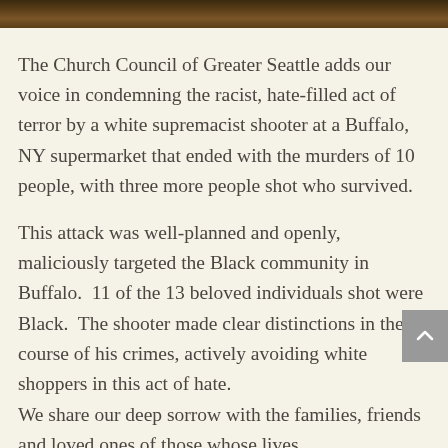[Figure (photo): Top strip of a dark amber/brown photograph, partially cropped, showing what appears to be an indoor setting with warm lighting.]
The Church Council of Greater Seattle adds our voice in condemning the racist, hate-filled act of terror by a white supremacist shooter at a Buffalo, NY supermarket that ended with the murders of 10 people, with three more people shot who survived.
This attack was well-planned and openly, maliciously targeted the Black community in Buffalo.  11 of the 13 beloved individuals shot were Black.  The shooter made clear distinctions in the course of his crimes, actively avoiding white shoppers in this act of hate.
We share our deep sorrow with the families, friends and loved ones of those whose lives were taken and those who suffered—